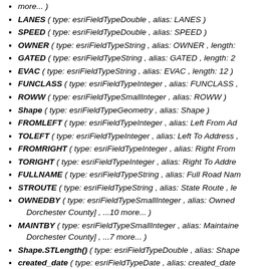more... )
LANES ( type: esriFieldTypeDouble , alias: LANES )
SPEED ( type: esriFieldTypeDouble , alias: SPEED )
OWNER ( type: esriFieldTypeString , alias: OWNER , length:
GATED ( type: esriFieldTypeString , alias: GATED , length: 2
EVAC ( type: esriFieldTypeString , alias: EVAC , length: 12 )
FUNCLASS ( type: esriFieldTypeInteger , alias: FUNCLASS ,
ROWW ( type: esriFieldTypeSmallInteger , alias: ROWW )
Shape ( type: esriFieldTypeGeometry , alias: Shape )
FROMLEFT ( type: esriFieldTypeInteger , alias: Left From Ad
TOLEFT ( type: esriFieldTypeInteger , alias: Left To Address ,
FROMRIGHT ( type: esriFieldTypeInteger , alias: Right From
TORIGHT ( type: esriFieldTypeInteger , alias: Right To Addre
FULLNAME ( type: esriFieldTypeString , alias: Full Road Nam
STROUTE ( type: esriFieldTypeString , alias: State Route , le
OWNEDBY ( type: esriFieldTypeSmallInteger , alias: Owned Dorchester County] , ...10 more... )
MAINTBY ( type: esriFieldTypeSmallInteger , alias: Maintaine Dorchester County] , ...7 more... )
Shape.STLength() ( type: esriFieldTypeDouble , alias: Shape
created_date ( type: esriFieldTypeDate , alias: created_date
last_edited_date ( type: esriFieldTypeDate , alias: last_edite
SURFACEWIDTH ( type: esriFieldTypeSmallInteger , alias: S
PWRanking ( type: esriFieldTypeSmallInteger , alias: PWRan